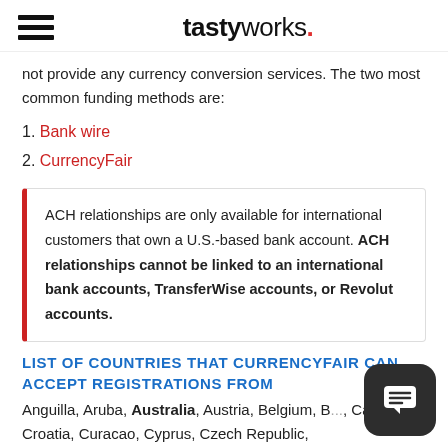tastyworks.
not provide any currency conversion services. The two most common funding methods are:
1. Bank wire
2. CurrencyFair
ACH relationships are only available for international customers that own a U.S.-based bank account. ACH relationships cannot be linked to an international bank accounts, TransferWise accounts, or Revolut accounts.
LIST OF COUNTRIES THAT CURRENCYFAIR CAN ACCEPT REGISTRATIONS FROM
Anguilla, Aruba, Australia, Austria, Belgium, B..., Canada, Croatia, Curacao, Cyprus, Czech Republic,